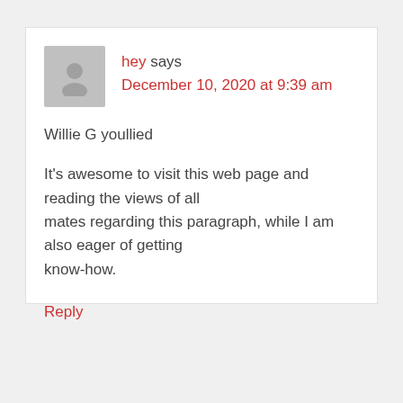[Figure (illustration): Generic user avatar icon — grey silhouette of a person on a grey background square]
hey says
December 10, 2020 at 9:39 am
Willie G youllied
It's awesome to visit this web page and reading the views of all mates regarding this paragraph, while I am also eager of getting know-how.
Reply